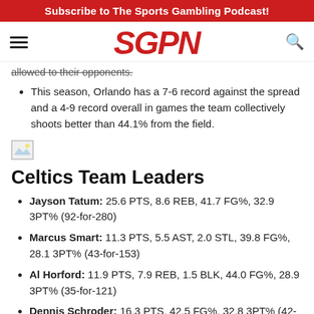Subscribe to The Sports Gambling Podcast!
[Figure (logo): SGPN logo with hamburger menu and search icon]
allowed to their opponents.
This season, Orlando has a 7-6 record against the spread and a 4-9 record overall in games the team collectively shoots better than 44.1% from the field.
[Figure (photo): Small broken/placeholder image icon]
Celtics Team Leaders
Jayson Tatum: 25.6 PTS, 8.6 REB, 41.7 FG%, 32.9 3PT% (92-for-280)
Marcus Smart: 11.3 PTS, 5.5 AST, 2.0 STL, 39.8 FG%, 28.1 3PT% (43-for-153)
Al Horford: 11.9 PTS, 7.9 REB, 1.5 BLK, 44.0 FG%, 28.9 3PT% (35-for-121)
Dennis Schroder: 16.3 PTS, 42.5 FG%, 32.8 3PT% (42-for-128)
Robert Williams III: 10.0 PTS, 8.9 REB, 1.9 BLK, 74.4 FG%